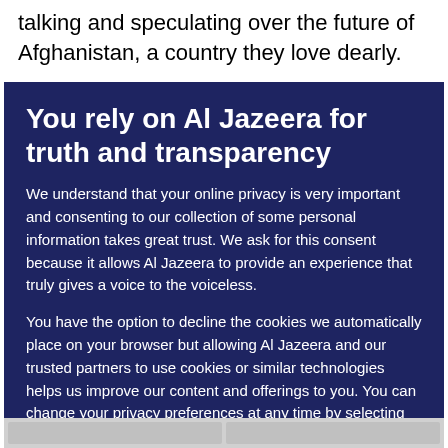talking and speculating over the future of Afghanistan, a country they love dearly.
You rely on Al Jazeera for truth and transparency
We understand that your online privacy is very important and consenting to our collection of some personal information takes great trust. We ask for this consent because it allows Al Jazeera to provide an experience that truly gives a voice to the voiceless.
You have the option to decline the cookies we automatically place on your browser but allowing Al Jazeera and our trusted partners to use cookies or similar technologies helps us improve our content and offerings to you. You can change your privacy preferences at any time by selecting 'Cookie preferences' at the bottom of your screen. To learn more, please view our Cookie Policy.